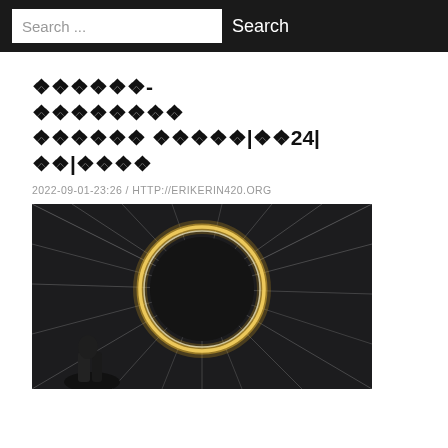Search ... Search
🔷🔷🔷🔷🔷🔷-🔷🔷🔷🔷🔷🔷🔷🔷🔷🔷🔷🔷🔷🔷🔷 🔷🔷🔷🔷🔷🔷🔷🔷🔷🔷🔷🔷24|🔷🔷|🔷🔷🔷🔷
2022-09-01-23:26 / HTTP://ERIKERIN420.ORG
[Figure (photo): A long-exposure light painting photograph showing a spinning circle of light (steel wool or similar) against a dark background, with radial streaks of light emanating outward. A person's silhouette is visible at the bottom left.]